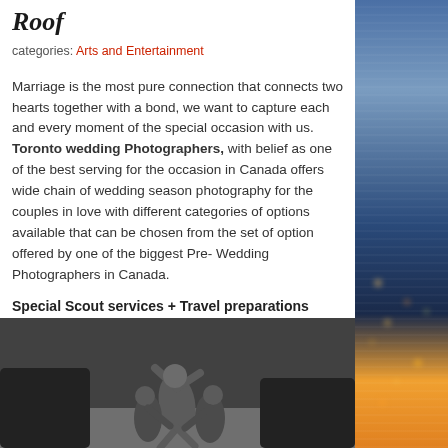Roof
categories: Arts and Entertainment
Marriage is the most pure connection that connects two hearts together with a bond, we want to capture each and every moment of the special occasion with us. Toronto wedding Photographers, with belief as one of the best serving for the occasion in Canada offers wide chain of wedding season photography for the couples in love with different categories of options available that can be chosen from the set of option offered by one of the biggest Pre- Wedding Photographers in Canada.
Special Scout services + Travel preparations
[Figure (photo): Black and white photo of a person appearing to be lifted or jumping in an indoor setting]